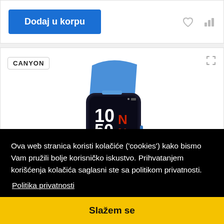Dodaj u korpu
[Figure (photo): Blue Canyon smartwatch/fitness tracker with digital display showing 10:50]
Ova web stranica koristi kolačiće ('cookies') kako bismo Vam pružili bolje korisničko iskustvo. Prihvatanjem korišćenja kolačića saglasni ste sa politikom privatnosti.
Politika privatnosti
Slažem se